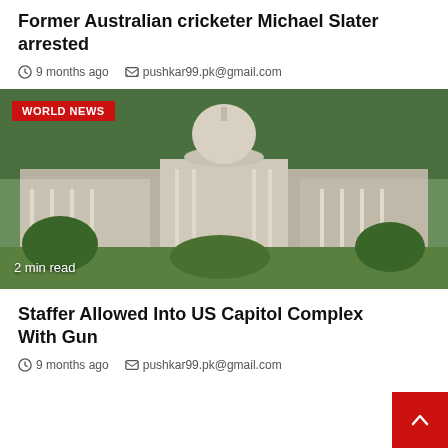Former Australian cricketer Michael Slater arrested
9 months ago   pushkar99.pk@gmail.com
[Figure (photo): Aerial photo of the US Capitol building complex with WORLD NEWS badge overlay and '2 min read' label]
Staffer Allowed Into US Capitol Complex With Gun
9 months ago   pushkar99.pk@gmail.com